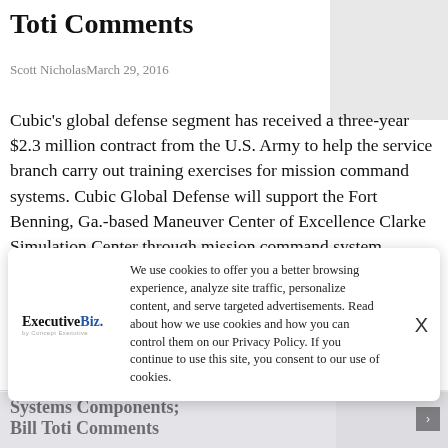Toti Comments
Scott NicholasMarch 29, 2016
Cubic's global defense segment has received a three-year $2.3 million contract from the U.S. Army to help the service branch carry out training exercises for mission command systems. Cubic Global Defense will support the Fort Benning, Ga.-based Maneuver Center of Excellence Clarke Simulation Center through mission command system training, technical support as well as virtual and gaming
[Figure (other): Gray placeholder image box in upper right]
We use cookies to offer you a better browsing experience, analyze site traffic, personalize content, and serve targeted advertisements. Read about how we use cookies and how you can control them on our Privacy Policy. If you continue to use this site, you consent to our use of cookies.
[Figure (logo): ExecutiveBiz. logo with tagline 'by Concept Executive']
Systems Components; Bill Toti Comments